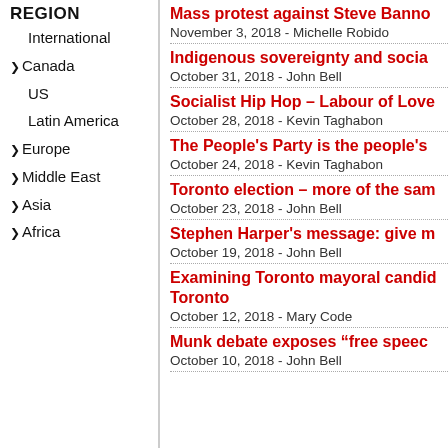REGION
International
Canada
US
Latin America
Europe
Middle East
Asia
Africa
Mass protest against Steve Banno
November 3, 2018 - Michelle Robido
Indigenous sovereignty and socia
October 31, 2018 - John Bell
Socialist Hip Hop – Labour of Love
October 28, 2018 - Kevin Taghabon
The People's Party is the people's
October 24, 2018 - Kevin Taghabon
Toronto election – more of the sam
October 23, 2018 - John Bell
Stephen Harper's message: give m
October 19, 2018 - John Bell
Examining Toronto mayoral candid Toronto
October 12, 2018 - Mary Code
Munk debate exposes "free speec
October 10, 2018 - John Bell